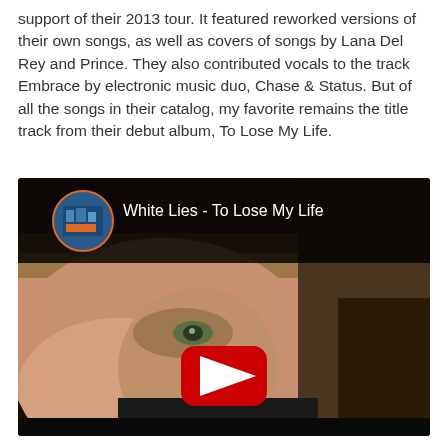support of their 2013 tour. It featured reworked versions of their own songs, as well as covers of songs by Lana Del Rey and Prince. They also contributed vocals to the track Embrace by electronic music duo, Chase & Status. But of all the songs in their catalog, my favorite remains the title track from their debut album, To Lose My Life.
[Figure (screenshot): YouTube video embed thumbnail showing 'White Lies - To Lose My Life' with a person's face in close-up, a YouTube play button in the center, and the channel icon in the top left corner.]